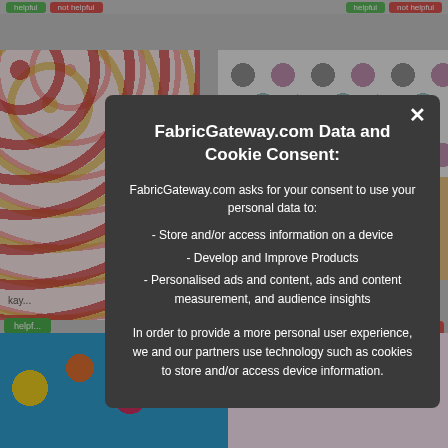[Figure (screenshot): Screenshot of FabricGateway.com website showing fabric pattern images in the background with a cookie/data consent modal dialog overlaid in the center. Background shows colorful fabric swatches including strawberry prints, polka dots, fast food kawaii prints, and pink animal prints. The modal has a dark gray background with white text.]
FabricGateway.com Data and Cookie Consent:
FabricGateway.com asks for your consent to use your personal data to:
- Store and/or access information on a device
- Develop and Improve Products
- Personalised ads and content, ads and content measurement, and audience insights
In order to provide a more personal user experience, we and our partners use technology such as cookies to store and/or access device information.